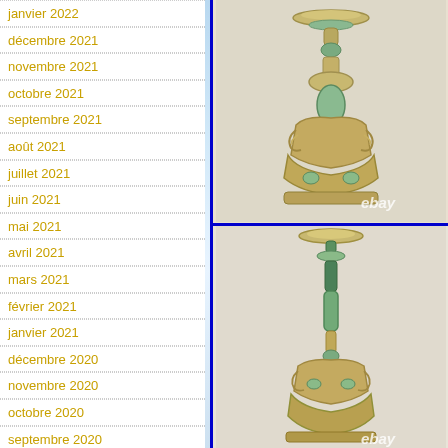janvier 2022
décembre 2021
novembre 2021
octobre 2021
septembre 2021
août 2021
juillet 2021
juin 2021
mai 2021
avril 2021
mars 2021
février 2021
janvier 2021
décembre 2020
novembre 2020
octobre 2020
septembre 2020
août 2020
juillet 2020
[Figure (photo): Ornate bronze and jade candlestick holder photographed from front, with ebay watermark, top portion]
[Figure (photo): Ornate bronze and jade candlestick holder photographed from front, with ebay watermark, full view]